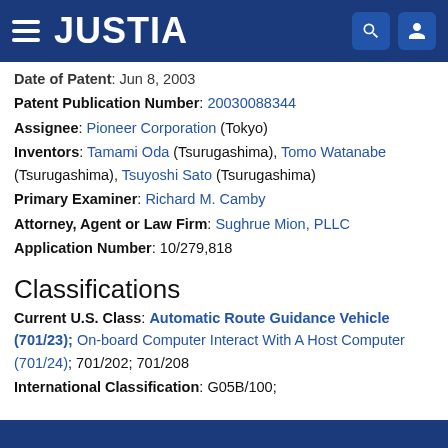JUSTIA
Date of Patent: Jun 8, 2003
Patent Publication Number: 20030088344
Assignee: Pioneer Corporation (Tokyo)
Inventors: Tamami Oda (Tsurugashima), Tomo Watanabe (Tsurugashima), Tsuyoshi Sato (Tsurugashima)
Primary Examiner: Richard M. Camby
Attorney, Agent or Law Firm: Sughrue Mion, PLLC
Application Number: 10/279,818
Classifications
Current U.S. Class: Automatic Route Guidance Vehicle (701/23); On-board Computer Interact With A Host Computer (701/24); 701/202; 701/208
International Classification: G05B/100;